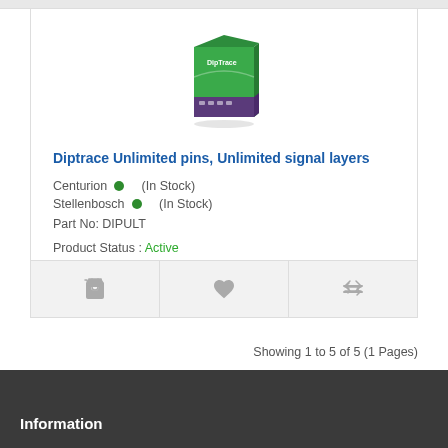[Figure (illustration): DipTrace software box art - green and purple product box with 'DipTrace' branding]
Diptrace Unlimited pins, Unlimited signal layers
Centurion  (In Stock)
Stellenbosch  (In Stock)
Part No: DIPULT
Product Status : Active
R14,895.00
(Inc Tax: R17,129.25)
Showing 1 to 5 of 5 (1 Pages)
Information